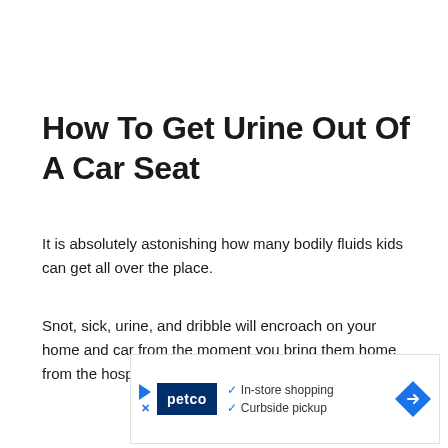How To Get Urine Out Of A Car Seat
It is absolutely astonishing how many bodily fluids kids can get all over the place.
Snot, sick, urine, and dribble will encroach on your home and car from the moment you bring them home from the hospital!
[Figure (other): Petco advertisement banner with logo, checkmarks for 'In-store shopping' and 'Curbside pickup', play/skip button, and navigation arrow]